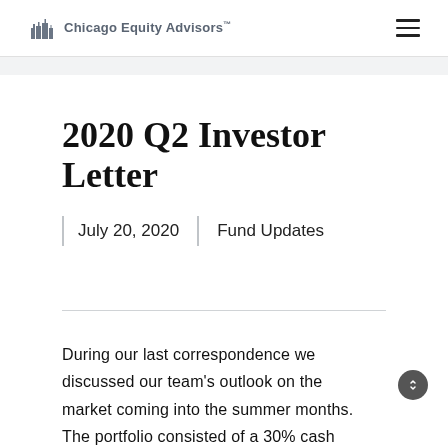Chicago Equity Advisors
2020 Q2 Investor Letter
July 20, 2020   Fund Updates
During our last correspondence we discussed our team's outlook on the market coming into the summer months. The portfolio consisted of a 30% cash